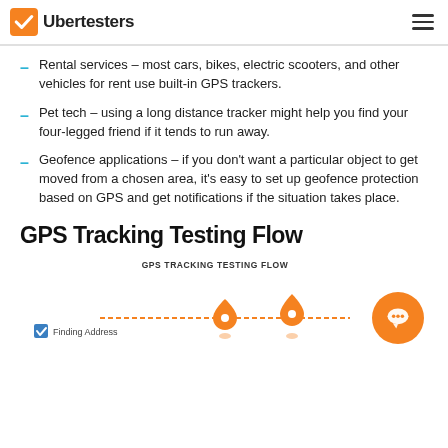Ubertesters
Rental services – most cars, bikes, electric scooters, and other vehicles for rent use built-in GPS trackers.
Pet tech – using a long distance tracker might help you find your four-legged friend if it tends to run away.
Geofence applications – if you don't want a particular object to get moved from a chosen area, it's easy to set up geofence protection based on GPS and get notifications if the situation takes place.
GPS Tracking Testing Flow
[Figure (flowchart): GPS Tracking Testing Flow diagram showing steps including Finding Address with a blue checkbox, and GPS pin icons on a horizontal flow line.]